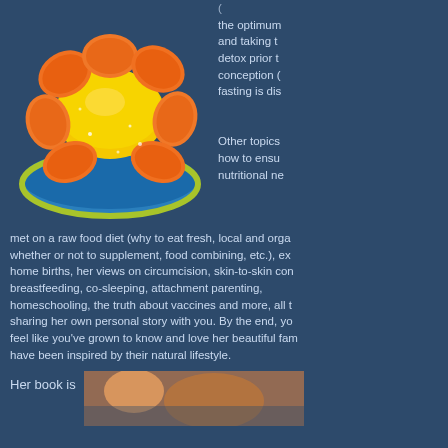[Figure (photo): Peeled mandarin orange segments arranged on a blue and yellow-green plate]
the optimum and taking t detox prior t conception ( fasting is dis
Other topics how to ensu nutritional ne met on a raw food diet (why to eat fresh, local and orga whether or not to supplement, food combining, etc.), ex home births, her views on circumcision, skin-to-skin con breastfeeding, co-sleeping, attachment parenting, homeschooling, the truth about vaccines and more, all t sharing her own personal story with you. By the end, yo feel like you've grown to know and love her beautiful fam have been inspired by their natural lifestyle.
Her book is
[Figure (photo): Partial image of a person or scene at the bottom right of the page]